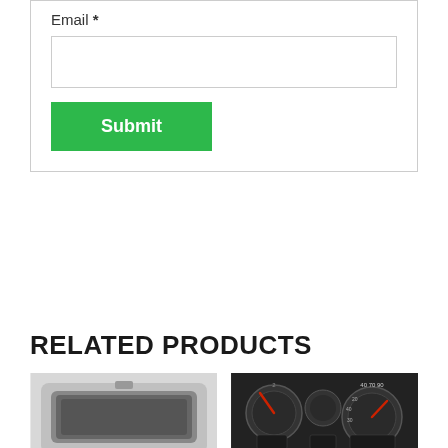Email *
[Figure (screenshot): Email input text field, empty, with border]
[Figure (screenshot): Green Submit button]
RELATED PRODUCTS
[Figure (photo): Car instrument cluster / dashboard speedometer in dark plastic housing, viewed from front]
[Figure (photo): Car dashboard instrument cluster with multiple gauges including speedometer and tachometer with red needles on dark background]